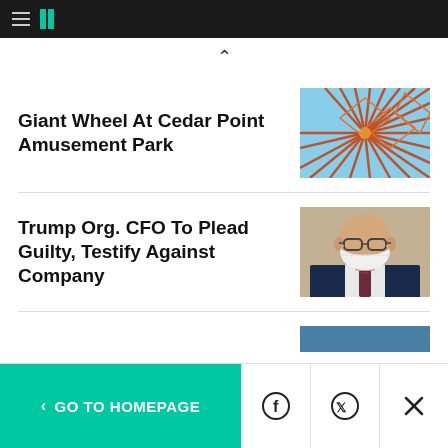HuffPost navigation bar with hamburger menu and logo
Giant Wheel At Cedar Point Amusement Park
[Figure (photo): Close-up photo of orange/red metal spokes of a giant Ferris wheel against a blue sky]
Trump Org. CFO To Plead Guilty, Testify Against Company
[Figure (photo): Photo of a bald man wearing glasses and a white face mask, dressed in a suit with a striped tie]
< GO TO HOMEPAGE | Facebook share | Twitter share | Close